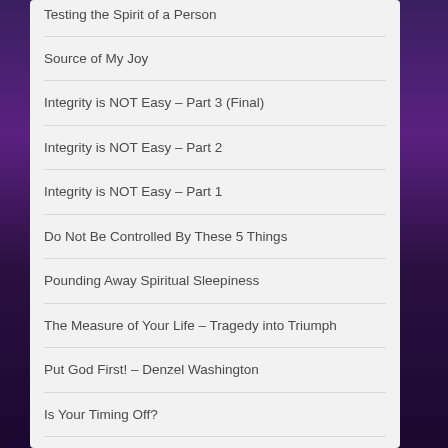Testing the Spirit of a Person
Source of My Joy
Integrity is NOT Easy – Part 3 (Final)
Integrity is NOT Easy – Part 2
Integrity is NOT Easy – Part 1
Do Not Be Controlled By These 5 Things
Pounding Away Spiritual Sleepiness
The Measure of Your Life – Tragedy into Triumph
Put God First! – Denzel Washington
Is Your Timing Off?